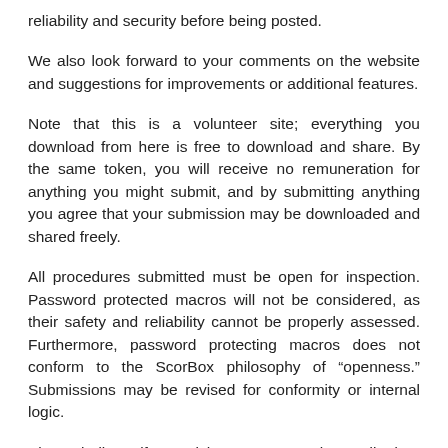reliability and security before being posted.
We also look forward to your comments on the website and suggestions for improvements or additional features.
Note that this is a volunteer site; everything you download from here is free to download and share. By the same token, you will receive no remuneration for anything you might submit, and by submitting anything you agree that your submission may be downloaded and shared freely.
All procedures submitted must be open for inspection. Password protected macros will not be considered, as their safety and reliability cannot be properly assessed. Furthermore, password protecting macros does not conform to the ScorBox philosophy of “openness.” Submissions may be revised for conformity or internal logic.
Please indicate if you wish your name to be credited as the